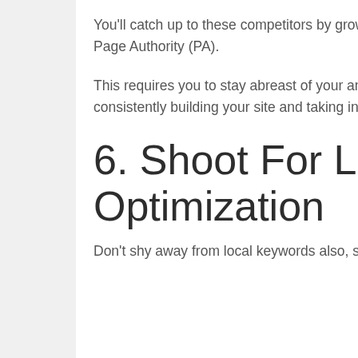You'll catch up to these competitors by growing your Domain Authority (DA) and Page Authority (PA).
This requires you to stay abreast of your analytics on a regular basis, and consistently building your site and taking in more traffic.
6. Shoot For Local Optimization
Don't shy away from local keywords also, since local SEO is crucial to the